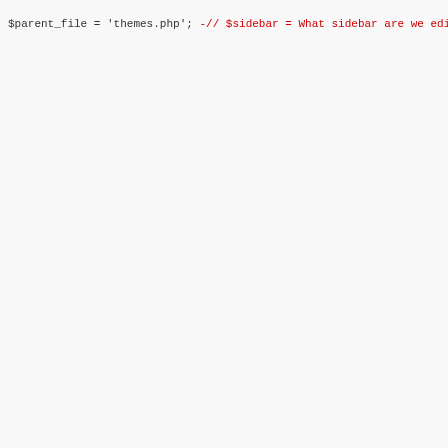[Figure (screenshot): Code diff showing PHP code with red (removed) lines and green (added) lines. Removed lines deal with sidebar detection logic. Added lines register an inactive_widgets sidebar and retrieve widgets functionality.]